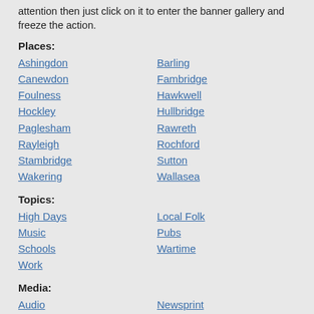attention then just click on it to enter the banner gallery and freeze the action.
Places:
Ashingdon
Barling
Canewdon
Fambridge
Foulness
Hawkwell
Hockley
Hullbridge
Paglesham
Rawreth
Rayleigh
Rochford
Stambridge
Sutton
Wakering
Wallasea
Topics:
High Days
Local Folk
Music
Pubs
Schools
Wartime
Work
Media:
Audio
Newsprint
Photos
Video
If you cannot find anything of interest then why not try using the site search engine - type a word or two into the little box in the site header and then click "Go"
[Figure (other): QR code image]